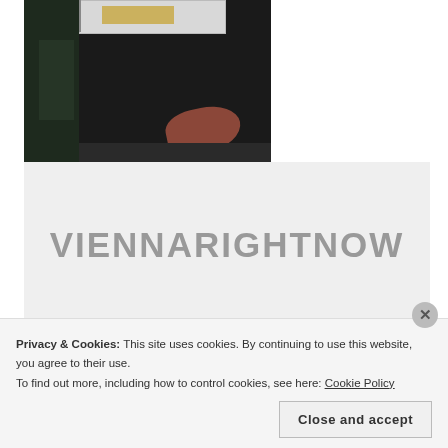[Figure (photo): A blurry photo of a person in a dark jacket, partially visible, with a bright screen or monitor in the background showing light and colorful content.]
[Figure (logo): Large grey bold text reading VIENNARIGHTNOW on a light grey background.]
Privacy & Cookies: This site uses cookies. By continuing to use this website, you agree to their use.
To find out more, including how to control cookies, see here: Cookie Policy
Close and accept